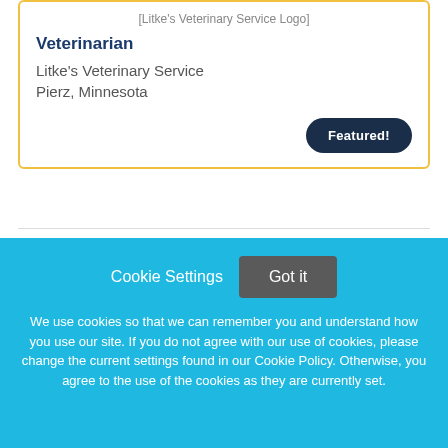[Figure (logo): Litke's Veterinary Service Logo (image placeholder text)]
Veterinarian
Litke's Veterinary Service
Pierz, Minnesota
Featured!
Doctor of Veterinary Medicine
Cookie Settings
Got it
We use cookies so that we can remember you and understand how you use our site. If you do not agree with our use of cookies, please change the current settings found in our Cookie Policy. Otherwise, you agree to the use of the cookies as they are currently set.